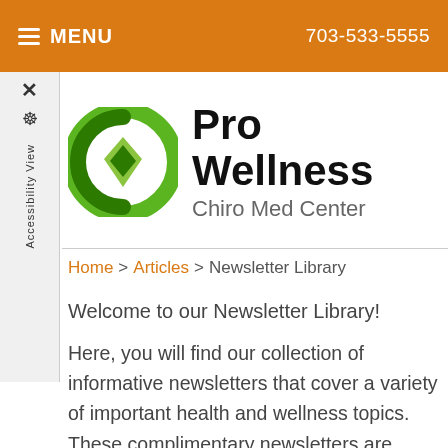MENU  703-533-5555
[Figure (logo): Pro Wellness Chiro Med Center logo with green circular icon]
Home > Articles > Newsletter Library
Welcome to our Newsletter Library!
Here, you will find our collection of informative newsletters that cover a variety of important health and wellness topics. These complimentary newsletters are provided so that you may improve your understanding of chiropractic care and learn more about the fascinating abilities of our bodice